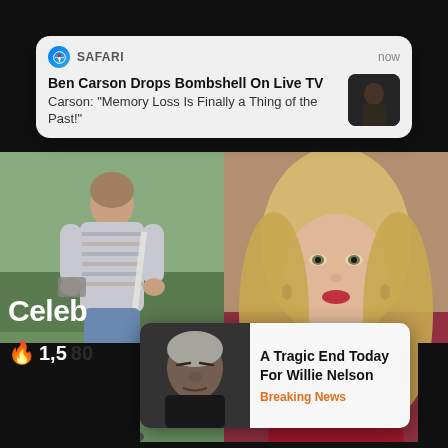[Figure (screenshot): Safari browser notification banner showing 'Ben Carson Drops Bombshell On Live TV' with subtitle 'Carson: Memory Loss Is Finally a Thing of the Past!' and a thumbnail image of Ben Carson]
Ben Carson Drops Bombshell On Live TV
Carson: "Memory Loss Is Finally a Thing of the Past!"
[Figure (photo): Split image: left side shows a woman with short hair wearing a striped sweater outdoors holding a device; right side shows a younger blonde woman in a red top with a necklace]
Celeb
🔥 1,5
[Figure (screenshot): Popup card showing Willie Nelson's photo with headline 'A Tragic End Today For Willie Nelson' and tag 'Breaking News']
A Tragic End Today For Willie Nelson
Breaking News